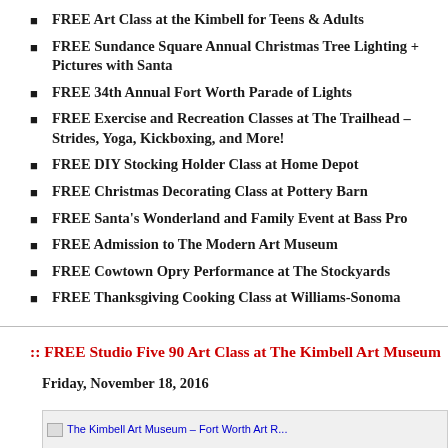FREE Art Class at the Kimbell for Teens & Adults
FREE Sundance Square Annual Christmas Tree Lighting + Pictures with Santa
FREE 34th Annual Fort Worth Parade of Lights
FREE Exercise and Recreation Classes at The Trailhead – Strides, Yoga, Kickboxing, and More!
FREE DIY Stocking Holder Class at Home Depot
FREE Christmas Decorating Class at Pottery Barn
FREE Santa's Wonderland and Family Event at Bass Pro
FREE Admission to The Modern Art Museum
FREE Cowtown Opry Performance at The Stockyards
FREE Thanksgiving Cooking Class at Williams-Sonoma
:: FREE Studio Five 90 Art Class at The Kimbell Art Museum
Friday, November 18, 2016
[Figure (screenshot): Partial image bar showing link/image for The Kimbell Art Museum Fort Worth Art...]